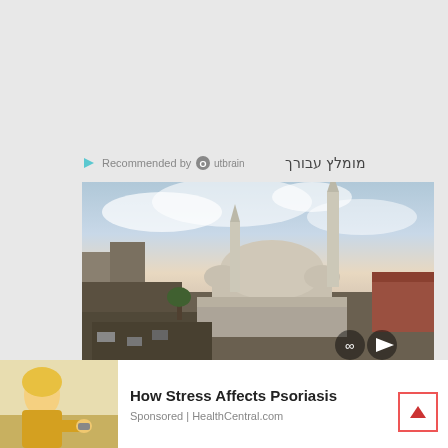[Figure (logo): Outbrain Recommended by logo with Hebrew text מומלץ עבורך]
[Figure (photo): Aerial view of a large mosque with tall minarets in an urban city setting, cloudy sky at dusk]
[Figure (photo): Advertisement thumbnail showing a blonde woman looking at her wrist]
How Stress Affects Psoriasis
Sponsored | HealthCentral.com